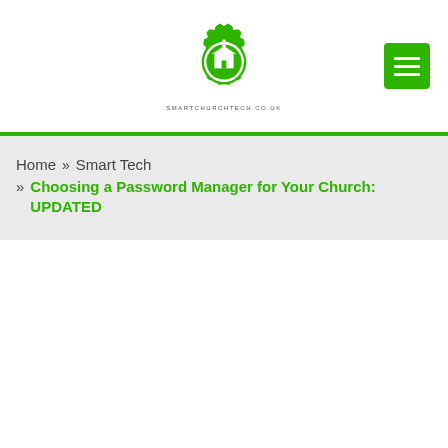[Figure (logo): SmartChurchTech.co.uk logo: green gear/cog icon with a church building silhouette in the center circle, with text SMARTCHURCHTECH.CO.UK below]
[Figure (other): Green hamburger menu button (three horizontal white bars on green square background)]
Home » Smart Tech » Choosing a Password Manager for Your Church: UPDATED